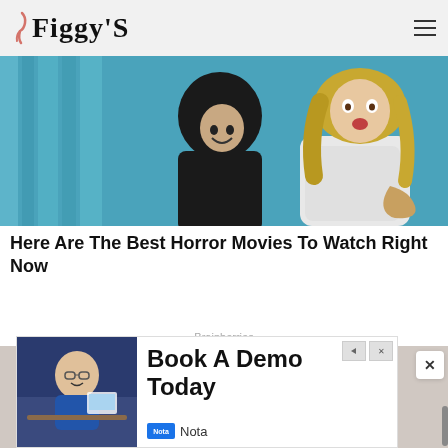Figgy's
[Figure (photo): Horror movie still: a woman in a hospital gown with long blonde hair looking frightened, and a dark hooded figure lurking behind blue curtains]
Here Are The Best Horror Movies To Watch Right Now
Brainberries
[Figure (photo): Partial view of a person with brown hair from behind, background is light gray]
[Figure (screenshot): Advertisement overlay: 'Book A Demo Today' from Nota, showing a man in a blue shirt at a desk smiling]